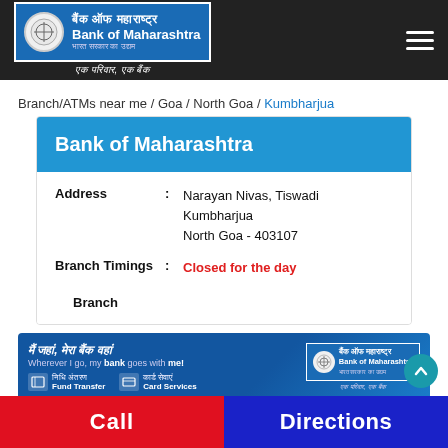[Figure (logo): Bank of Maharashtra logo with Hindi text and English name on dark header bar]
Branch/ATMs near me / Goa / North Goa / Kumbharjua
Bank of Maharashtra
Address : Narayan Nivas, Tiswadi Kumbharjua North Goa - 403107
Branch Timings : Closed for the day
Branch
[Figure (screenshot): Bank of Maharashtra promotional banner with Hindi and English text, Fund Transfer and Card Services icons]
Call
Directions